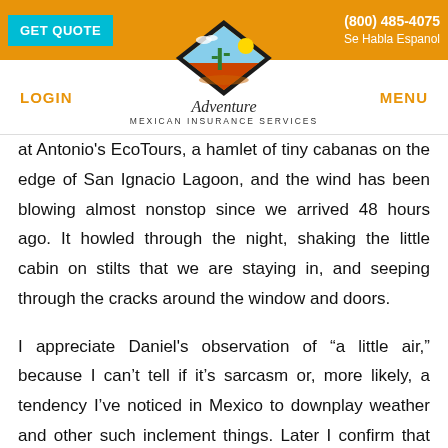GET QUOTE | (800) 485-4075 | Se Habla Espanol | Adventure Mexican Insurance Services | LOGIN | MENU
at Antonio's EcoTours, a hamlet of tiny cabanas on the edge of San Ignacio Lagoon, and the wind has been blowing almost nonstop since we arrived 48 hours ago. It howled through the night, shaking the little cabin on stilts that we are staying in, and seeping through the cracks around the window and doors.
I appreciate Daniel's observation of “a little air,” because I can't tell if it's sarcasm or, more likely, a tendency I've noticed in Mexico to downplay weather and other such inclement things. Later I confirm that “un poco de aire” is used to describe a “draft.” It’s just too good.